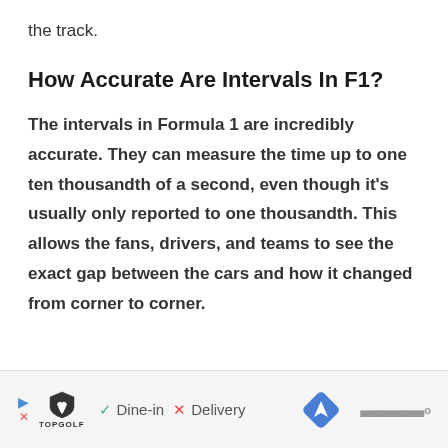the track.
How Accurate Are Intervals In F1?
The intervals in Formula 1 are incredibly accurate. They can measure the time up to one ten thousandth of a second, even though it's usually only reported to one thousandth. This allows the fans, drivers, and teams to see the exact gap between the cars and how it changed from corner to corner.
[Figure (other): Advertisement banner featuring TopGolf logo with play/stop icons, Dine-in and Delivery options with checkmark and X, a blue navigation diamond icon, and Waze-style icon]